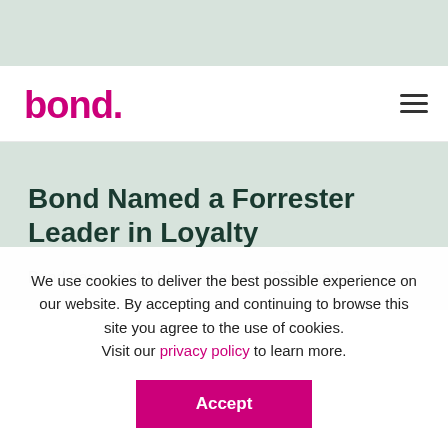[Figure (logo): Bond brand logo in magenta/pink with stylized 'bond.' text]
Bond Named a Forrester Leader in Loyalty
Bond has proudly been named a 2021 Leader in
We use cookies to deliver the best possible experience on our website. By accepting and continuing to browse this site you agree to the use of cookies.
Visit our privacy policy to learn more.
Accept